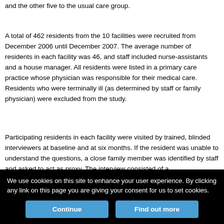and the other five to the usual care group.
A total of 462 residents from the 10 facilities were recruited from December 2006 until December 2007. The average number of residents in each facility was 46, and staff included nurse-assistants and a house manager. All residents were listed in a primary care practice whose physician was responsible for their medical care. Residents who were terminally ill (as determined by staff or family physician) were excluded from the study.
Participating residents in each facility were visited by trained, blinded interviewers at baseline and at six months. If the resident was unable to understand the questions, a close family member was identified by staff and asked to act as proxy. The interview consisted of a
We use cookies on this site to enhance your user experience. By clicking any link on this page you are giving your consent for us to set cookies.